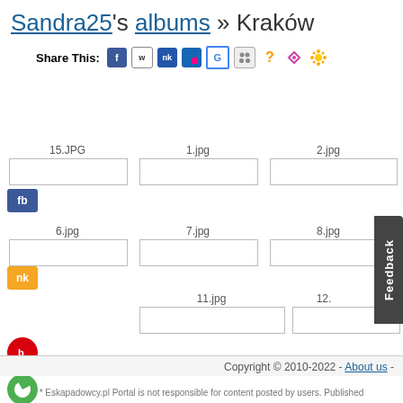Sandra25's albums » Kraków
Share This: [social icons]
15.JPG
1.jpg
2.jpg
6.jpg
7.jpg
8.jpg
11.jpg
12.
Copyright © 2010-2022  -  About us  -
* Eskapadowcy.pl Portal is not responsible for content posted by users. Published